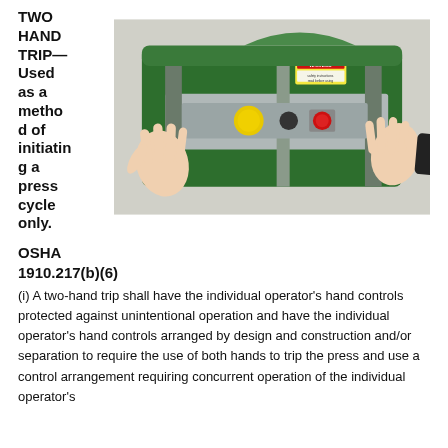TWO HAND TRIP— Used as a method of initiating a press cycle only.
[Figure (photo): Photo of industrial press machine with two hands pressing buttons/pads on either side of a control panel. Yellow and red buttons visible. Machine is green with a WARNING label.]
OSHA 1910.217(b)(6)
(i) A two-hand trip shall have the individual operator's hand controls protected against unintentional operation and have the individual operator's hand controls arranged by design and construction and/or separation to require the use of both hands to trip the press and use a control arrangement requiring concurrent operation of the individual operator's